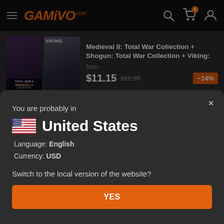GAMIVO.com
[Figure (screenshot): Product listing for Medieval II: Total War Collection + Shogun: Total War Collection + Viking with price $11.15 (was $12.98, -14% discount)]
Medieval II: Total War Collection + Shogun: Total War Collection + Viking:
from
$11.15  $12.98  -14%
[Figure (screenshot): Partial product listing for Total War: Empire and Medieval Total...]
Total War: Empire... and Medieval Total...
You are probably in
United States
Language: English
Currency: USD
Switch to the local version of the website?
YES